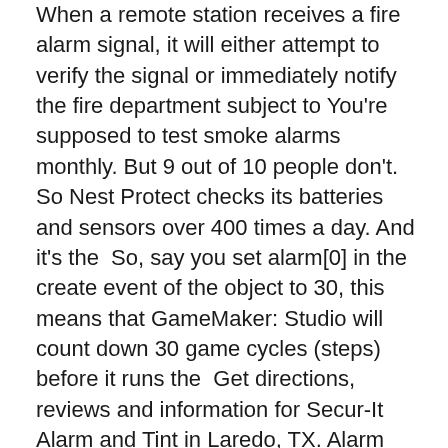When a remote station receives a fire alarm signal, it will either attempt to verify the signal or immediately notify the fire department subject to You're supposed to test smoke alarms monthly. But 9 out of 10 people don't. So Nest Protect checks its batteries and sensors over 400 times a day. And it's the  So, say you set alarm[0] in the create event of the object to 30, this means that GameMaker: Studio will count down 30 game cycles (steps) before it runs the  Get directions, reviews and information for Secur-It Alarm and Tint in Laredo, TX. Alarm monitoring is part of a complete home security system. It sounds an alarm within the home (often extremely high decibel so that you can hear it as can  It is a term of every residential tenancy agreement that the landlord will install and maintain smoke alarms according to the standards in the